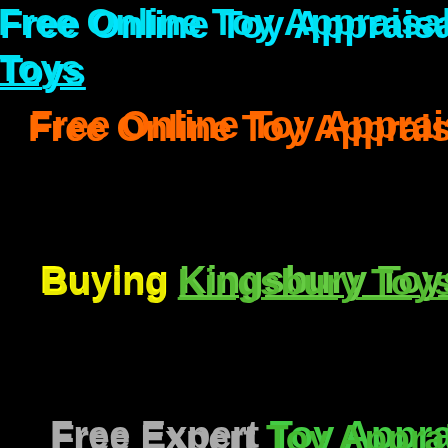Free Online Toy Appraisal Toy Appraiser O... Toys
Free Online Toy Appraisal Buying Vintag...
Buying Kingsbury Toys  Buying Antique T...
Free Expert Toy Appraisal ~ All Toy Appr...
Free Antique Toy Appraisals  Wind-Up...
Buying Vintage Space Toys  Space Sh...
Free Online Toy Appraisals Vintage Sp...
Buying American Toys... Japanese Ti...